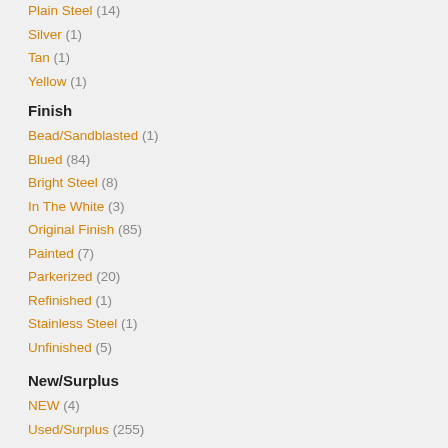Plain Steel (14)
Silver (1)
Tan (1)
Yellow (1)
Finish
Bead/Sandblasted (1)
Blued (84)
Bright Steel (8)
In The White (3)
Original Finish (85)
Painted (7)
Parkerized (20)
Refinished (1)
Stainless Steel (1)
Unfinished (5)
New/Surplus
NEW (4)
Used/Surplus (255)
Barrel Length